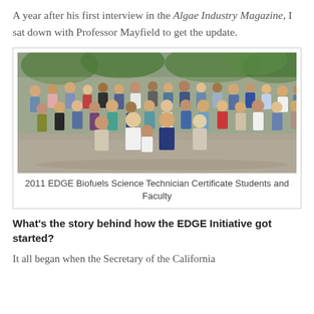A year after his first interview in the Algae Industry Magazine, I sat down with Professor Mayfield to get the update.
[Figure (photo): Group photo of the 2011 EDGE Biofuels Science Technician Certificate Students and Faculty, approximately 35 people standing in rows outdoors with trees in background.]
2011 EDGE Biofuels Science Technician Certificate Students and Faculty
What's the story behind how the EDGE Initiative got started?
It all began when the Secretary of the California